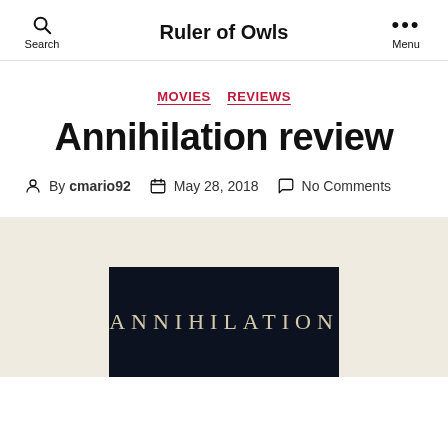Ruler of Owls
MOVIES  REVIEWS
Annihilation review
By cmario92  May 28, 2018  No Comments
[Figure (photo): Dark movie title card showing the word ANNIHILATION in serif lettering on a near-black background, partially visible at the bottom of the cream-colored section.]